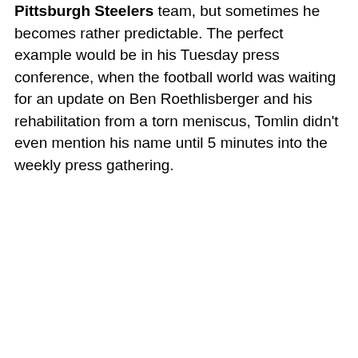Pittsburgh Steelers team, but sometimes he becomes rather predictable. The perfect example would be in his Tuesday press conference, when the football world was waiting for an update on Ben Roethlisberger and his rehabilitation from a torn meniscus, Tomlin didn't even mention his name until 5 minutes into the weekly press gathering.